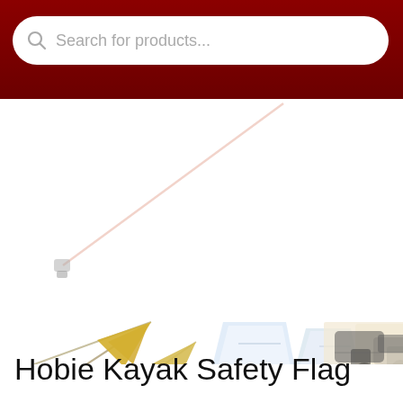[Figure (screenshot): Search bar with magnifying glass icon and placeholder text 'Search for products...' on a dark red/maroon header background]
[Figure (photo): Product images of Hobie Kayak Safety Flag: a tall flag on a flexible pole with clamp base (left), a white bracket/mount piece (center), and a close-up photo of the mounting hardware on a kayak (right). Images are shown on white background with light gray faded decorative background element.]
Hobie Kayak Safety Flag